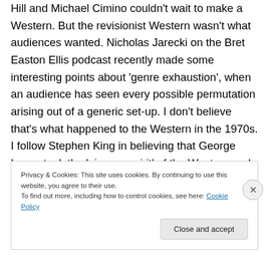Hill and Michael Cimino couldn't wait to make a Western. But the revisionist Western wasn't what audiences wanted. Nicholas Jarecki on the Bret Easton Ellis podcast recently made some interesting points about 'genre exhaustion', when an audience has seen every possible permutation arising out of a generic set-up. I don't believe that's what happened to the Western in the 1970s. I follow Stephen King in believing that George Lucas took the 'pioneer spirit' of the Western and simply, in a belated emulation of JFK's call for a New Frontier, relocated it in space. And, as
Privacy & Cookies: This site uses cookies. By continuing to use this website, you agree to their use.
To find out more, including how to control cookies, see here: Cookie Policy
Close and accept